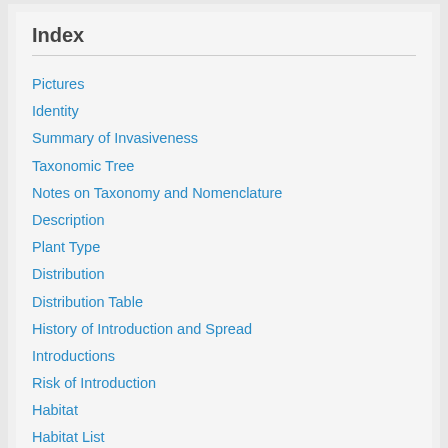Index
Pictures
Identity
Summary of Invasiveness
Taxonomic Tree
Notes on Taxonomy and Nomenclature
Description
Plant Type
Distribution
Distribution Table
History of Introduction and Spread
Introductions
Risk of Introduction
Habitat
Habitat List
Hosts/Species Affected
Host Plants and Other Plants Affected
Growth Stages
Biology and Ecology
Climate
Soil Tolerances